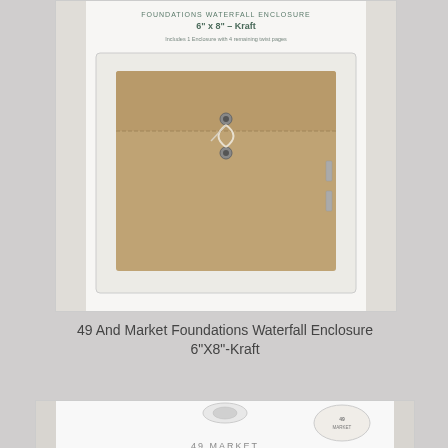[Figure (photo): Product photo of 49 And Market Foundations Waterfall Enclosure 6x8 Kraft envelope in clear packaging with label showing product name and details.]
49 And Market Foundations Waterfall Enclosure 6"X8"-Kraft
[Figure (photo): Product photo of 49 And Market paradise shaped paper clips showing the word 'paradise' in teal and two green flip flop shaped clips, in retail packaging.]